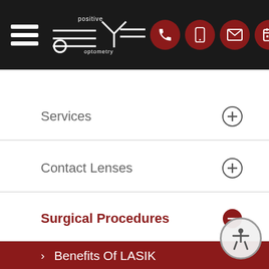[Figure (logo): Positive Eye Optometry logo with stylized eye graphic and horizontal lines, white on dark background]
Services
Contact Lenses
Surgical Procedures
Benefits Of LASIK
Can Diet Reverse Diabetic Retinopathy